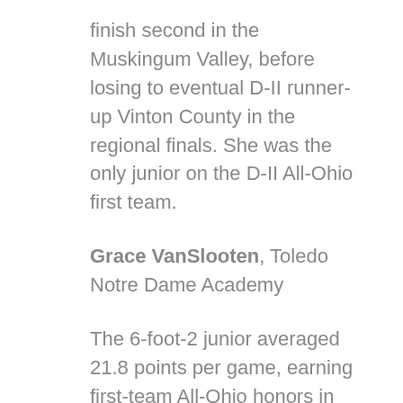finish second in the Muskingum Valley, before losing to eventual D-II runner-up Vinton County in the regional finals. She was the only junior on the D-II All-Ohio first team.
Grace VanSlooten, Toledo Notre Dame Academy
The 6-foot-2 junior averaged 21.8 points per game, earning first-team All-Ohio honors in D-I. She’s ranked No. 16 on the ESPNW HoopGurlz Super 60 recruiting rankings for the 2022 class. VanSlooten had 20 points and eight rebounds in the 59-50 loss to Mount Notre Dame in the